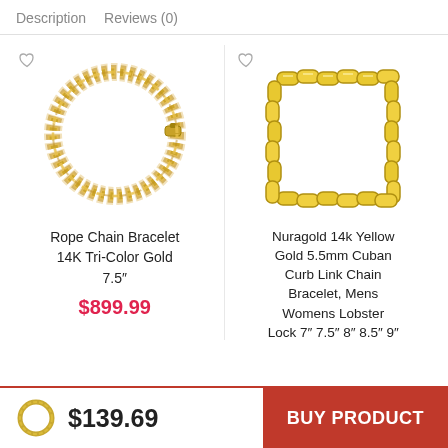Description   Reviews (0)
[Figure (photo): Rope chain bracelet made of 14K tri-color gold, twisted rope style, shown on white background]
Rope Chain Bracelet 14K Tri-Color Gold 7.5″
$899.99
[Figure (photo): Nuragold 14k Yellow Gold 5.5mm Cuban Curb Link Chain Bracelet with lobster lock clasp, shown on white background]
Nuragold 14k Yellow Gold 5.5mm Cuban Curb Link Chain Bracelet, Mens Womens Lobster Lock 7″ 7.5″ 8″ 8.5″ 9″
[Figure (photo): Small gold ring icon]
$139.69
BUY PRODUCT